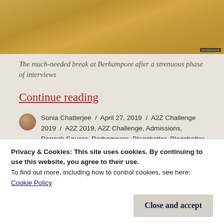[Figure (photo): Dry golden-brown grass / ground texture photo, partial view at top of page]
The much-needed break at Berhampore after a strenuous phase of interviews
Continue reading
Sonia Chatterjee / April 27, 2019 / A2Z Challenge 2019 / A2Z 2019, A2Z Challenge, Admissions, Barrack Square, Berhampore, Blogchatter, Blogchatter A2Zchallenge, Blogger, Blogging, blogging challenges,
Privacy & Cookies: This site uses cookies. By continuing to use this website, you agree to their use.
To find out more, including how to control cookies, see here: Cookie Policy